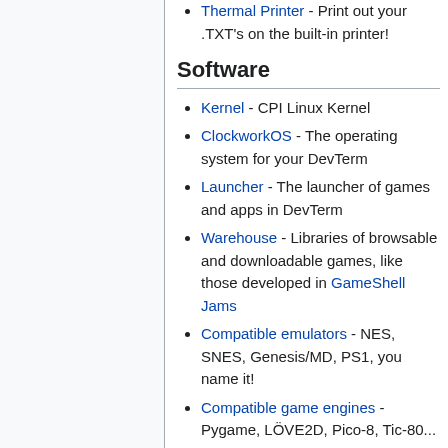Thermal Printer - Print out your .TXT's on the built-in printer!
Software
Kernel - CPI Linux Kernel
ClockworkOS - The operating system for your DevTerm
Launcher - The launcher of games and apps in DevTerm
Warehouse - Libraries of browsable and downloadable games, like those developed in GameShell Jams
Compatible emulators - NES, SNES, Genesis/MD, PS1, you name it!
Compatible game engines - Pygame, LÖVE2D, Pico-8, Tic-80...
Compatible games - List of standalone games such as CaveStory, ChocoDM.